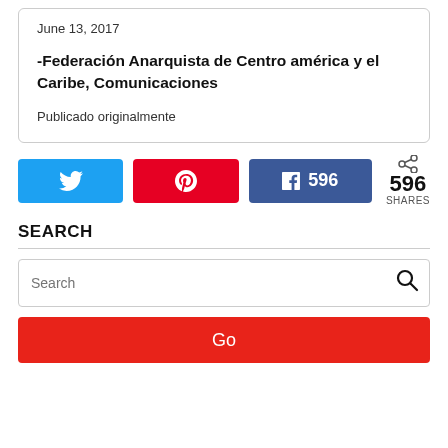June 13, 2017
-Federación Anarquista de Centro américa y el Caribe, Comunicaciones
Publicado originalmente
[Figure (other): Social share buttons: Twitter, Pinterest, Facebook (596), and total 596 SHARES]
SEARCH
Search input field with Go button